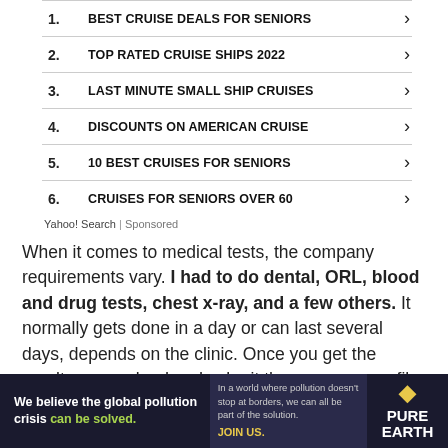1. BEST CRUISE DEALS FOR SENIORS
2. TOP RATED CRUISE SHIPS 2022
3. LAST MINUTE SMALL SHIP CRUISES
4. DISCOUNTS ON AMERICAN CRUISE
5. 10 BEST CRUISES FOR SENIORS
6. CRUISES FOR SENIORS OVER 60
Yahoo! Search | Sponsored
When it comes to medical tests, the company requirements vary. I had to do dental, ORL, blood and drug tests, chest x-ray, and a few others. It normally gets done in a day or can last several days, depends on the clinic. Once you get the results, you upload and submit them on your profile. They are normally valid for two years, and then you have to re-take
[Figure (infographic): Pure Earth advertisement: We believe the global pollution crisis can be solved. In a world where pollution doesn't stop at borders, we can all be part of the solution. JOIN US. Pure Earth logo with diamond hazard symbol.]